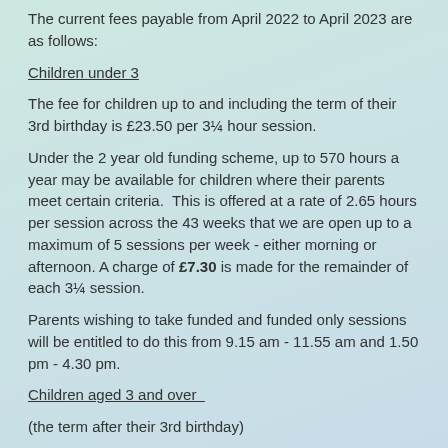The current fees payable from April 2022 to April 2023 are as follows:
Children under 3
The fee for children up to and including the term of their 3rd birthday is £23.50 per 3¼ hour session.
Under the 2 year old funding scheme, up to 570 hours a year may be available for children where their parents meet certain criteria.  This is offered at a rate of 2.65 hours per session across the 43 weeks that we are open up to a maximum of 5 sessions per week - either morning or afternoon. A charge of £7.30 is made for the remainder of each 3¼ session.
Parents wishing to take funded and funded only sessions will be entitled to do this from 9.15 am - 11.55 am and 1.50 pm - 4.30 pm.
Children aged 3 and over
(the term after their 3rd birthday)